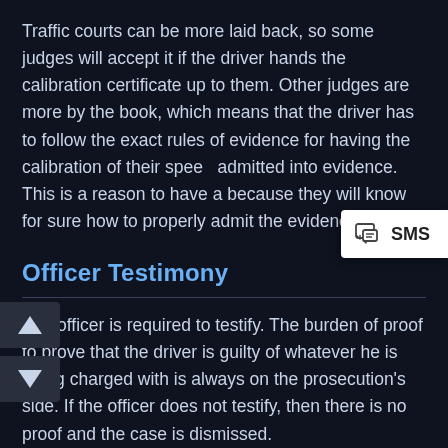Traffic courts can be more laid back, so some judges will accept it if the driver hands the calibration certificate up to them. Other judges are more by the book, which means that the driver has to follow the exact rules of evidence for having the calibration of their speed admitted into evidence. This is a reason to have a because they will know for sure how to properly admit the evidence.
Officer Testimony
The officer is required to testify. The burden of proof to prove that the driver is guilty of whatever he is being charged with is always on the prosecution's side. If the officer does not testify, then there is no proof and the case is dismissed.